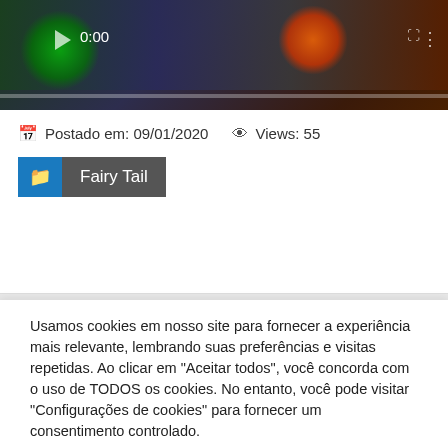[Figure (screenshot): Video player showing anime characters with play button at 0:00, progress bar at bottom]
Postado em: 09/01/2020   Views: 55
Fairy Tail
Vídeos relacionados
Usamos cookies em nosso site para fornecer a experiência mais relevante, lembrando suas preferências e visitas repetidas. Ao clicar em "Aceitar todos", você concorda com o uso de TODOS os cookies. No entanto, você pode visitar "Configurações de cookies" para fornecer um consentimento controlado.
Configurações
Aceitar Todos